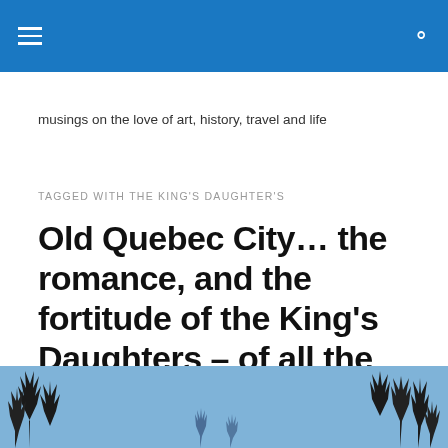musings on the love of art, history, travel and life
TAGGED WITH THE KING'S DAUGHTER'S
Old Quebec City… the romance, and the fortitude of the King's Daughters – of all the founding women
[Figure (photo): Winter bare trees against a blue sky, viewed from below, forming the bottom strip of the page]